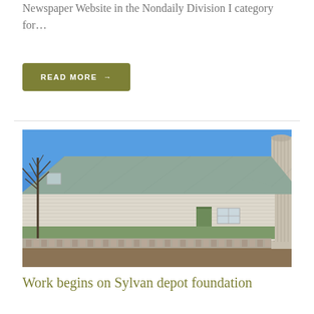Newspaper Website in the Nondaily Division I category for…
READ MORE →
[Figure (photo): Photograph of an old white wooden farm depot building with a metal roof, green lower trim, a green door, and a concrete foundation. A bare tree is visible on the left and a grain silo on the right. Blue sky in the background.]
Work begins on Sylvan depot foundation